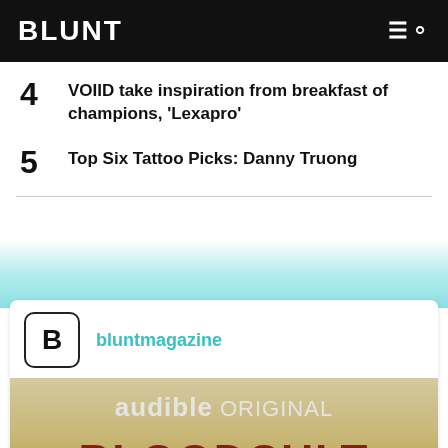BLUNT
4  VOIID take inspiration from breakfast of champions, ‘Lexapro’
5  Top Six Tattoo Picks: Danny Truong
[Figure (screenshot): Social media card showing bluntmagazine Instagram profile with Audible Original Bloodcult promotional image]
bluntmagazine